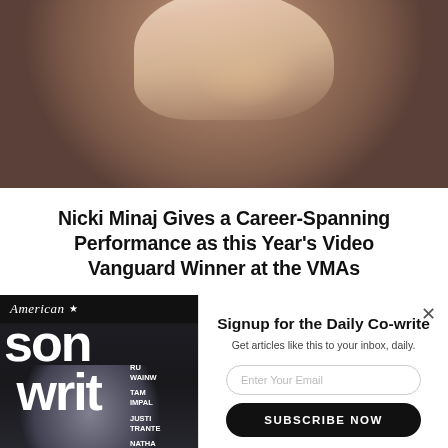[Figure (photo): Photo of Nicki Minaj with pink/blonde hair against a blurred background]
Nicki Minaj Gives a Career-Spanning Performance as this Year's Video Vanguard Winner at the VMAs
[Figure (photo): American Songwriter magazine cover featuring James Taylor seated, wearing a cap and dark jacket. Cover text includes 'RU WAINW', 'TAM IMPAL', 'JUSTI TRANTE', 'NATHA RATE']
[Figure (screenshot): Email signup popup overlay: 'Signup for the Daily Co-write', 'Get articles like this to your inbox, daily.', email input field, SUBSCRIBE NOW button, NO THANKS link, with X close button]